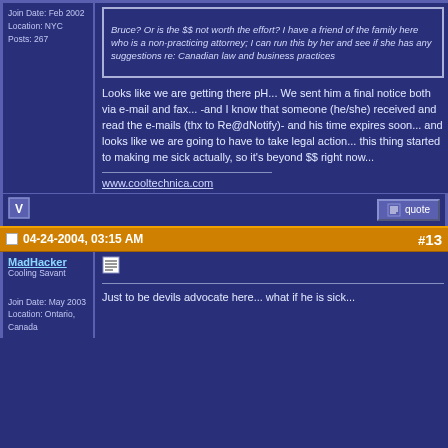Join Date: Feb 2002
Location: NYC
Posts: 267
Bruce? Or is the $$ not worth the effort? I have a friend of the family here who is a non-practicing attorney; I can run this by her and see if she has any suggestions re: Canadian law and business practices
Looks like we are getting there pH... We sent him a final notice both via e-mail and fax... -and I know that someone (he/she) received and read the e-mails (thx to Re@dNotify)- and his time expires soon... and looks like we are going to have to take legal action... this thing started to making me sick actually, so it's beyond $$ right now...
www.cooltechnica.com
04-24-2004, 03:15 AM  #13
MadHacker
Cooling Savant
Join Date: May 2003
Location: Ontario, Canada
Just to be devils advocate here... what if he is sick...